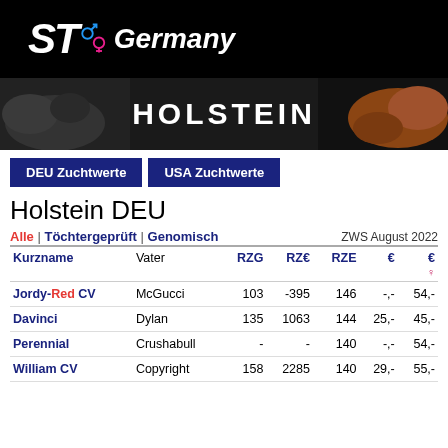ST Germany
[Figure (logo): ST Germany logo with mars and venus symbols on black background]
[Figure (photo): Holstein cattle breed banner image with HOLSTEIN text]
DEU Zuchtwerte | USA Zuchtwerte
Holstein DEU
Alle | Töchtergeprüft | Genomisch   ZWS August 2022
| Kurzname | Vater | RZG | RZ€ | RZE | € | € ♀ |
| --- | --- | --- | --- | --- | --- | --- |
| Jordy-Red CV | McGucci | 103 | -395 | 146 | -,- | 54,- |
| Davinci | Dylan | 135 | 1063 | 144 | 25,- | 45,- |
| Perennial | Crushabull | - | - | 140 | -,- | 54,- |
| William CV | Copyright | 158 | 2285 | 140 | 29,- | 55,- |